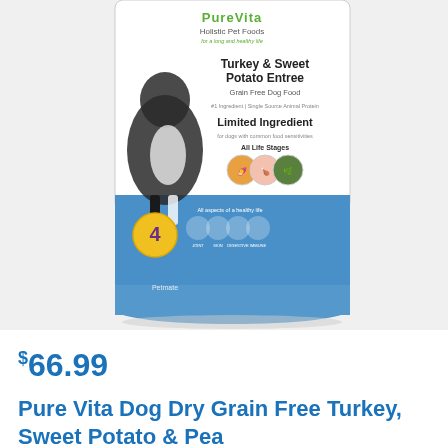[Figure (photo): Product photo of Pure Vita Holistic Pet Foods Turkey & Sweet Potato Entree Grain Free Dog Food bag. The bag features a black and white dog (Australian Shepherd) on a white upper portion, with the brand name PureVita at top, text reading 'Turkey & Sweet Potato Entree', 'Grain Free Dog Food', 'Limited Ingredient', 'All Life Stages', and circular food imagery (sweet potato, turkey, greens). The lower portion of the bag is blue with a yellow circle containing the number 4 and small circular icons.]
$66.99
Pure Vita Dog Dry Grain Free Turkey, Sweet Potato & Pea